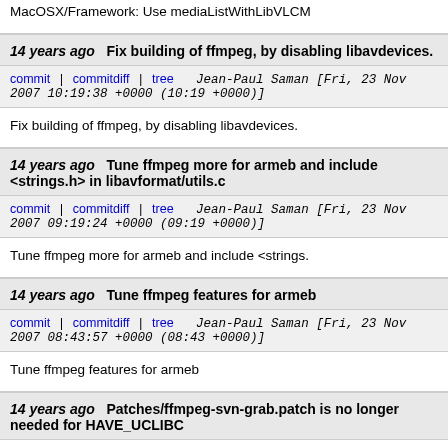MacOSX/Framework: Use mediaListWithLibVLCM
14 years ago   Fix building of ffmpeg, by disabling libavdevices.
commit | commitdiff | tree   Jean-Paul Saman [Fri, 23 Nov 2007 10:19:38 +0000 (10:19 +0000)]
Fix building of ffmpeg, by disabling libavdevices.
14 years ago   Tune ffmpeg more for armeb and include <strings.h> in libavformat/utils.c
commit | commitdiff | tree   Jean-Paul Saman [Fri, 23 Nov 2007 09:19:24 +0000 (09:19 +0000)]
Tune ffmpeg more for armeb and include <strings.
14 years ago   Tune ffmpeg features for armeb
commit | commitdiff | tree   Jean-Paul Saman [Fri, 23 Nov 2007 08:43:57 +0000 (08:43 +0000)]
Tune ffmpeg features for armeb
14 years ago   Patches/ffmpeg-svn-grab.patch is no longer needed for HAVE_UCLIBC